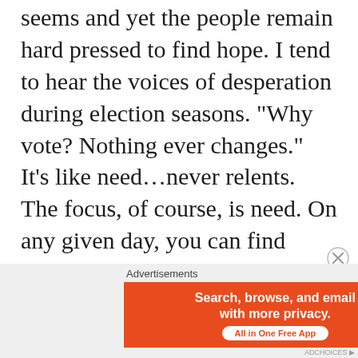seems and yet the people remain hard pressed to find hope. I tend to hear the voices of desperation during election seasons. “Why vote? Nothing ever changes.” It’s like need…never relents. The focus, of course, is need. On any given day, you can find people lined up at the local bread lines, food pantries, community centers for free meals, and help with utilities. It’s a never-ending heave-ho into the abyss of socioeconomic despair.
Advertisements
[Figure (other): DuckDuckGo advertisement banner: orange left panel reading 'Search, browse, and email with more privacy. All in One Free App' with pill button, dark right panel with DuckDuckGo duck logo.]